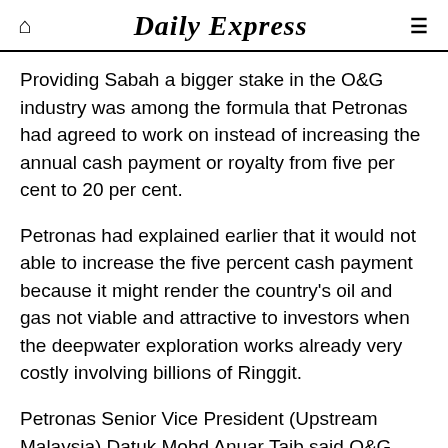Daily Express
Providing Sabah a bigger stake in the O&G industry was among the formula that Petronas had agreed to work on instead of increasing the annual cash payment or royalty from five per cent to 20 per cent.
Petronas had explained earlier that it would not able to increase the five percent cash payment because it might render the country's oil and gas not viable and attractive to investors when the deepwater exploration works already very costly involving billions of Ringgit.
Petronas Senior Vice President (Upstream Malaysia) Datuk Mohd Anuar Taib said O&G